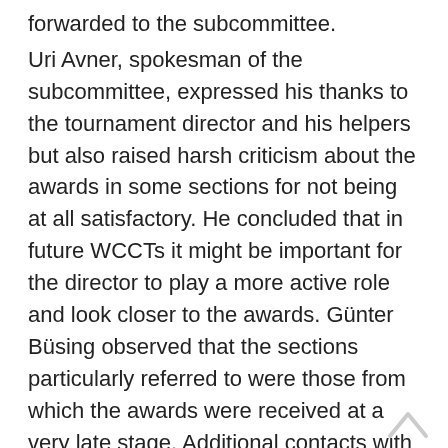forwarded to the subcommittee.
Uri Avner, spokesman of the subcommittee, expressed his thanks to the tournament director and his helpers but also raised harsh criticism about the awards in some sections for not being at all satisfactory. He concluded that in future WCCTs it might be important for the director to play a more active role and look closer to the awards. Günter Büsing observed that the sections particularly referred to were those from which the awards were received at a very late stage. Additional contacts with the judges would therefore have resulted in further delay.
6.III 7th WCCT